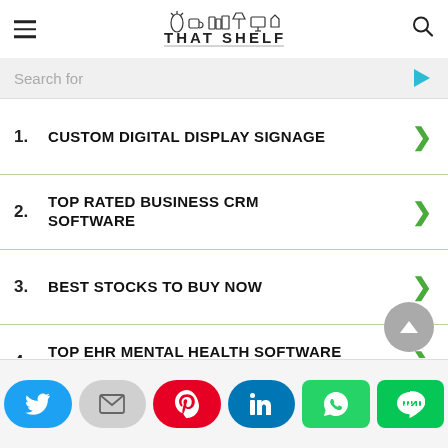THAT SHELF
Search for
1. CUSTOM DIGITAL DISPLAY SIGNAGE
2. TOP RATED BUSINESS CRM SOFTWARE
3. BEST STOCKS TO BUY NOW
4. TOP EHR MENTAL HEALTH SOFTWARE PROGRAM
5. DRINKS THAT SHRINK BELLY FAT
Yahoo! Search
Twitter | Email | Pinterest | LinkedIn | WhatsApp | LINE